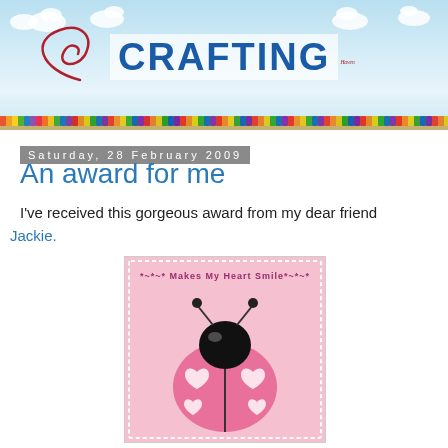Crafting Haven - blog header banner
Saturday, 28 February 2009
An award for me
I've received this gorgeous award from my dear friend Jackie.
[Figure (illustration): Pink ladybug award image with text '*~*~* Makes My Heart Smile*~*~*' on a pink heart-patterned background]